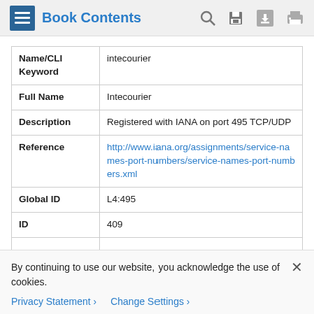Book Contents
| Field | Value |
| --- | --- |
| Name/CLI Keyword | intecourier |
| Full Name | Intecourier |
| Description | Registered with IANA on port 495 TCP/UDP |
| Reference | http://www.iana.org/assignments/service-names-port-numbers/service-names-port-numbers.xml |
| Global ID | L4:495 |
| ID | 409 |
By continuing to use our website, you acknowledge the use of cookies.
Privacy Statement > Change Settings >